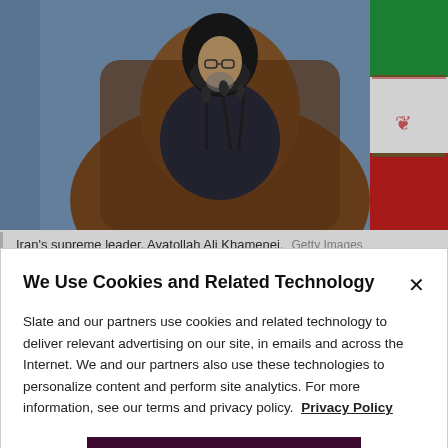[Figure (photo): Photo of Iran's supreme leader, Ayatollah Ali Khamenei, seated at a podium with microphones; a red flag visible to the right, blue curtain background.]
Iran's supreme leader, Ayatollah Ali Khamenei.  Getty Images
This article is part of the Free Speech Project, a collaboration between Future
[Figure (logo): Free Speech Project logo: three white dots above the words 'free speech' on a black background.]
We Use Cookies and Related Technology

Slate and our partners use cookies and related technology to deliver relevant advertising on our site, in emails and across the Internet. We and our partners also use these technologies to personalize content and perform site analytics. For more information, see our terms and privacy policy.  Privacy Policy

OK